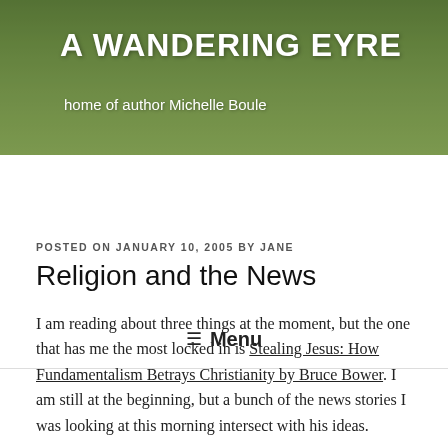A WANDERING EYRE
home of author Michelle Boule
≡ Menu
POSTED ON JANUARY 10, 2005 BY JANE
Religion and the News
I am reading about three things at the moment, but the one that has me the most locked in is Stealing Jesus: How Fundamentalism Betrays Christianity by Bruce Bower. I am still at the beginning, but a bunch of the news stories I was looking at this morning intersect with his ideas.
There are your typical “banned books” stories.